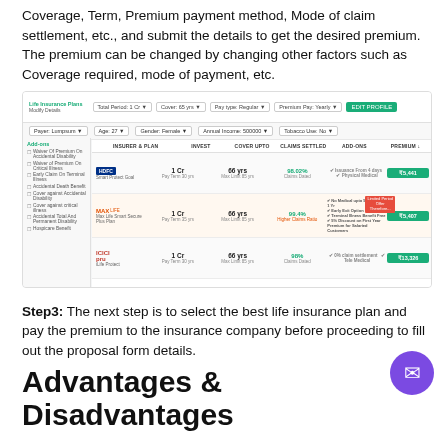Coverage, Term, Premium payment method, Mode of claim settlement, etc., and submit the details to get the desired premium. The premium can be changed by changing other factors such as Coverage required, mode of payment, etc.
[Figure (screenshot): Screenshot of a life insurance comparison website showing multiple insurance plans (HDFC, Max Life, ICICI, PNB MetLife, Tata AIA) with columns for insurer & plan, invest, cover upto, claims settled, add-ons, and premium. Sidebar shows add-on filters.]
Step3: The next step is to select the best life insurance plan and pay the premium to the insurance company before proceeding to fill out the proposal form details.
Advantages & Disadvantages